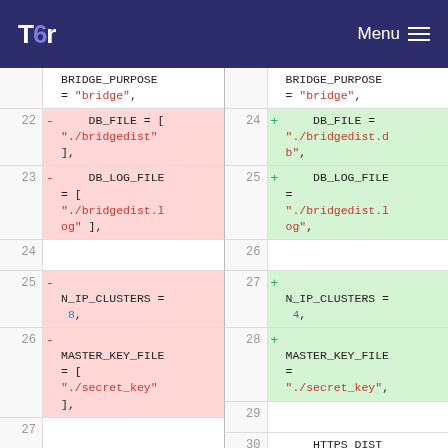Tor | Menu
Code diff showing changes to bridge configuration settings including BRIDGE_PURPOSE, DB_FILE, DB_LOG_FILE, N_IP_CLUSTERS, MASTER_KEY_FILE, HTTPS_DIST settings across lines 22-30